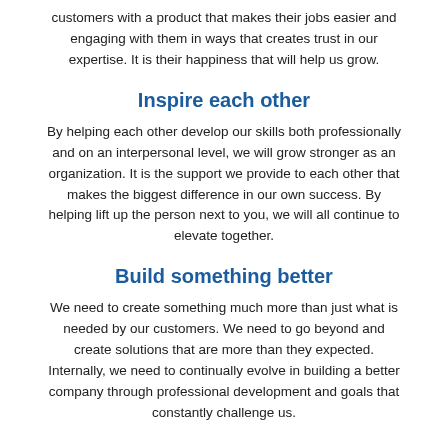customers with a product that makes their jobs easier and engaging with them in ways that creates trust in our expertise. It is their happiness that will help us grow.
Inspire each other
By helping each other develop our skills both professionally and on an interpersonal level, we will grow stronger as an organization. It is the support we provide to each other that makes the biggest difference in our own success. By helping lift up the person next to you, we will all continue to elevate together.
Build something better
We need to create something much more than just what is needed by our customers. We need to go beyond and create solutions that are more than they expected. Internally, we need to continually evolve in building a better company through professional development and goals that constantly challenge us.